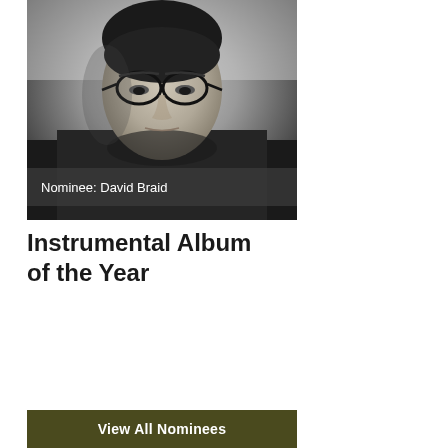[Figure (photo): Black and white portrait photo of a man wearing round glasses, looking downward with a serious expression. The image is a close-up face/head shot.]
Nominee: David Braid
Instrumental Album of the Year
View All Nominees